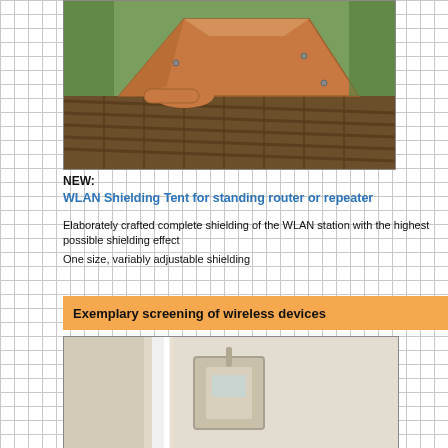[Figure (photo): A copper-colored WLAN shielding tent sitting on a wooden slatted outdoor table, with trees in background.]
NEW:
WLAN Shielding Tent for standing router or repeater
Elaborately crafted complete shielding of the WLAN station with the highest possible shielding effect
One size, variably adjustable shielding
Exemplary screening of wireless devices
[Figure (photo): A close-up photo showing a wireless device or router inside a shielding enclosure, light-colored interior.]